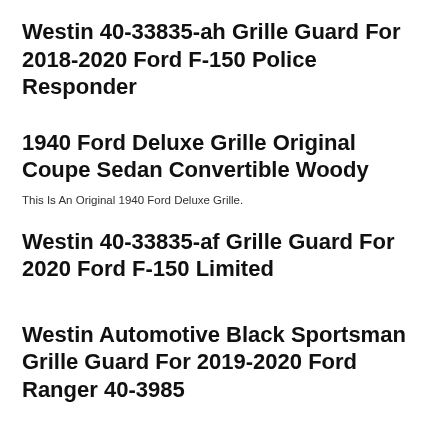Westin 40-33835-ah Grille Guard For 2018-2020 Ford F-150 Police Responder
1940 Ford Deluxe Grille Original Coupe Sedan Convertible Woody
This Is An Original 1940 Ford Deluxe Grille.
Westin 40-33835-af Grille Guard For 2020 Ford F-150 Limited
Westin Automotive Black Sportsman Grille Guard For 2019-2020 Ford Ranger 40-3985